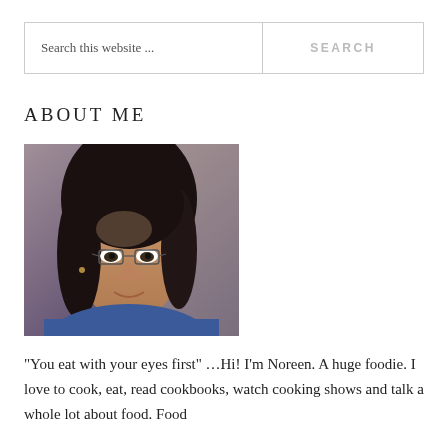Search this website ...
ABOUT ME
[Figure (photo): Portrait photo of Noreen, a woman with long dark hair wearing glasses, smiling slightly, wearing a blue top. Background is muted brown/purple tones.]
"You eat with your eyes first" …Hi! I'm Noreen. A huge foodie. I love to cook, eat, read cookbooks, watch cooking shows and talk a whole lot about food. Food